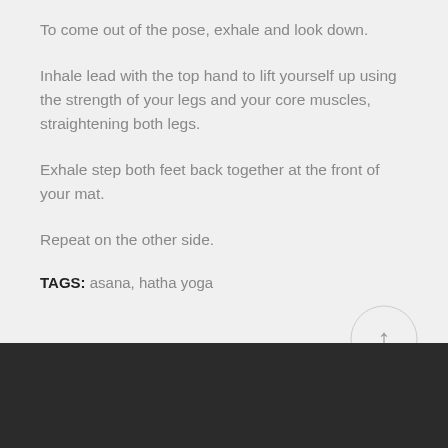To come out of the pose, exhale and look down.
Inhale lead with the top hand to lift yourself up using the strength of your legs and your core muscles, straightening both legs.
Exhale step both feet back together at the front of your mat.
Repeat on the other side.
TAGS: asana, hatha yoga
[Figure (other): Dark footer bar with a circular scroll-to-top button (upward arrow) in the lower right corner]